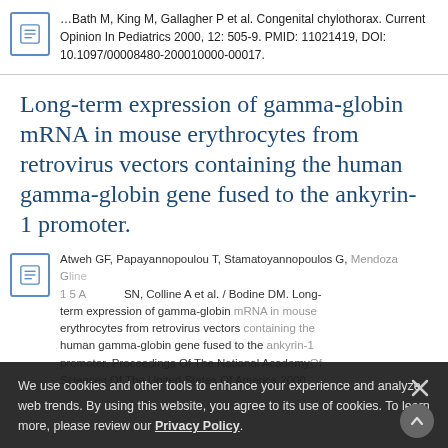…Bath M, King M, Gallagher P et al. Congenital chylothorax. Current Opinion In Pediatrics 2000, 12: 505-9. PMID: 11021419, DOI: 10.1097/00008480-200010000-00017.
Long-term expression of gamma-globin mRNA in mouse erythrocytes from retrovirus vectors containing the human gamma-globin gene fused to the ankyrin-1 promoter.
Atweh GF, Papayannopoulou T, Stamatoyannopoulos G, Mendoza G, Colline A et al. / Bodine DM. Long-term expression of gamma-globin mRNA in mouse erythrocytes from retrovirus vectors containing the human gamma-globin gene fused to the ankyrin-1 promoter. Proceedings Of The National Academy Of Sciences Of The United States Of America 2000
We use cookies and other tools to enhance your experience and analyze web trends. By using this website, you agree to its use of cookies. To learn more, please review our Privacy Policy.